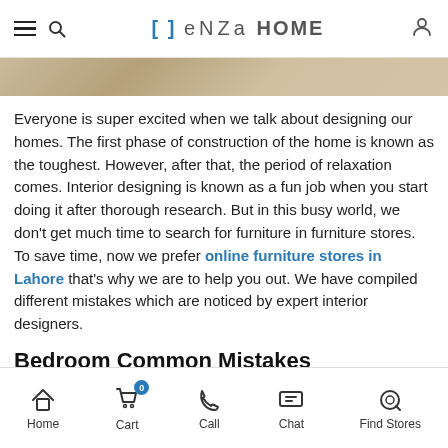[ ] enza HOME
[Figure (photo): Partial hero image of home interior, cropped view showing furniture/wood tones]
Everyone is super excited when we talk about designing our homes. The first phase of construction of the home is known as the toughest. However, after that, the period of relaxation comes. Interior designing is known as a fun job when you start doing it after thorough research. But in this busy world, we don't get much time to search for furniture in furniture stores. To save time, now we prefer online furniture stores in Lahore that's why we are to help you out. We have compiled different mistakes which are noticed by expert interior designers.
Bedroom Common Mistakes
While designing a fresh bedroom, it's important to understand how space will look. How much storage we will get? Will the design be
Home  Cart  Call  Chat  Find Stores